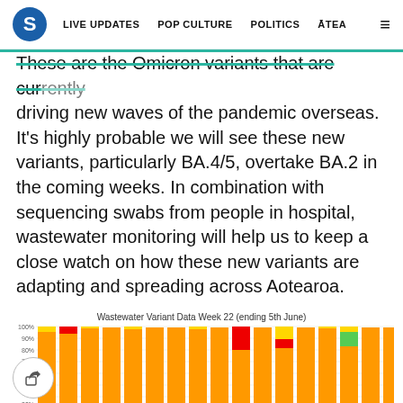S  LIVE UPDATES  POP CULTURE  POLITICS  ĀTEA  ≡
These are the Omicron variants that are currently driving new waves of the pandemic overseas. It's highly probable we will see these new variants, particularly BA.4/5, overtake BA.2 in the coming weeks. In combination with sequencing swabs from people in hospital, wastewater monitoring will help us to keep a close watch on how these new variants are adapting and spreading across Aotearoa.
[Figure (stacked-bar-chart): Stacked bar chart showing wastewater variant data for week 22 ending 5th June. Bars are mostly orange (BA.2) with some red and yellow segments and one green segment in the last few bars. Y-axis shows percentages from 30% to 100%.]